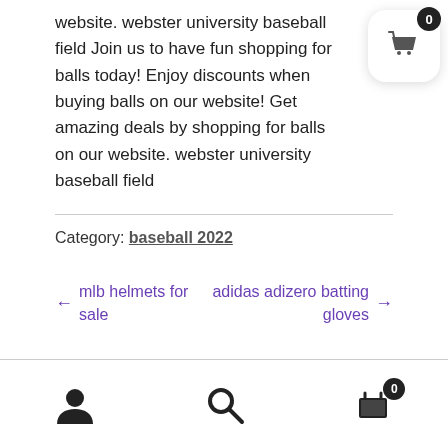website. webster university baseball field Join us to have fun shopping for balls today! Enjoy discounts when buying balls on our website! Get amazing deals by shopping for balls on our website. webster university baseball field
Category: baseball 2022
← mlb helmets for sale    adidas adizero batting gloves →
Bottom navigation bar with user, search, and cart icons